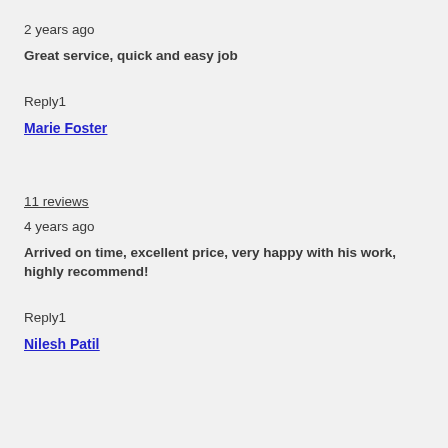2 years ago
Great service, quick and easy job
Reply1
Marie Foster
11 reviews
4 years ago
Arrived on time, excellent price, very happy with his work, highly recommend!
Reply1
Nilesh Patil